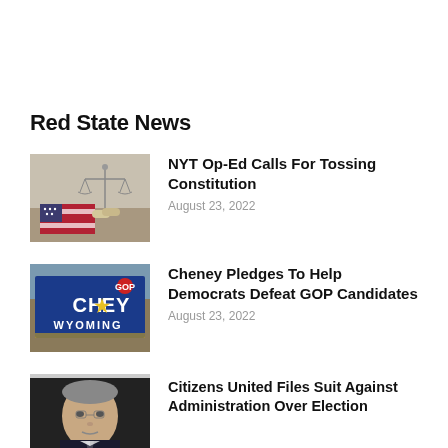Red State News
[Figure (photo): Scales of justice with American flag in background]
NYT Op-Ed Calls For Tossing Constitution
August 23, 2022
[Figure (photo): Cheney Wyoming campaign sign (blue)]
Cheney Pledges To Help Democrats Defeat GOP Candidates
August 23, 2022
[Figure (photo): Portrait of older man in suit, dark background]
Citizens United Files Suit Against Administration Over Election